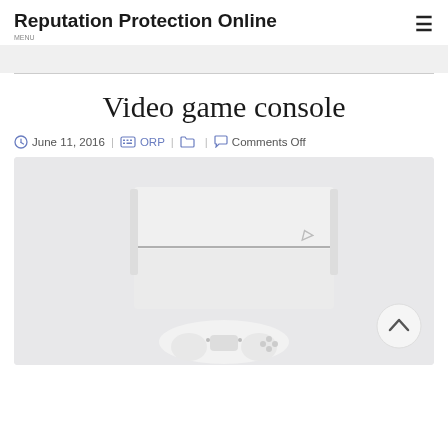Reputation Protection Online
Video game console
June 11, 2016 | ORP | Comments Off
[Figure (photo): White PlayStation 4 console and white DualShock controller on a light gray background]